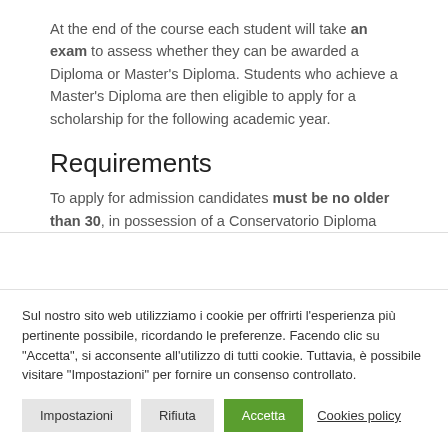At the end of the course each student will take an exam to assess whether they can be awarded a Diploma or Master's Diploma. Students who achieve a Master's Diploma are then eligible to apply for a scholarship for the following academic year.
Requirements
To apply for admission candidates must be no older than 30, in possession of a Conservatorio Diploma
Sul nostro sito web utilizziamo i cookie per offrirti l'esperienza più pertinente possibile, ricordando le preferenze. Facendo clic su "Accetta", si acconsente all'utilizzo di tutti cookie. Tuttavia, è possibile visitare "Impostazioni" per fornire un consenso controllato.